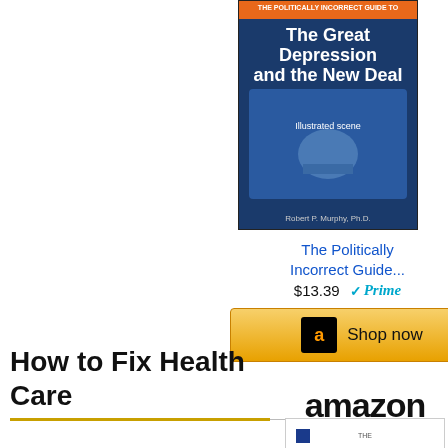[Figure (photo): Book cover for The Politically Incorrect Guide to the Great Depression and the New Deal, shown in an Amazon widget with blue background]
The Politically Incorrect Guide...
$13.39  Prime
[Figure (logo): Amazon Shop now button with orange/gold background]
How to Fix Health Care
[Figure (logo): Amazon logo with smile]
[Figure (photo): The Primal Prescription book cover]
Say apparently. When critics used to regard them on eco
So anyway, that figure as without any terrible argu
58 Respon
Reply